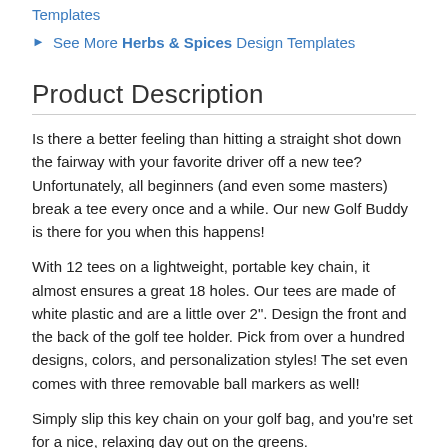Templates
See More Herbs & Spices Design Templates
Product Description
Is there a better feeling than hitting a straight shot down the fairway with your favorite driver off a new tee? Unfortunately, all beginners (and even some masters) break a tee every once and a while. Our new Golf Buddy is there for you when this happens!
With 12 tees on a lightweight, portable key chain, it almost ensures a great 18 holes. Our tees are made of white plastic and are a little over 2". Design the front and the back of the golf tee holder. Pick from over a hundred designs, colors, and personalization styles! The set even comes with three removable ball markers as well!
Simply slip this key chain on your golf bag, and you're set for a nice, relaxing day out on the greens.